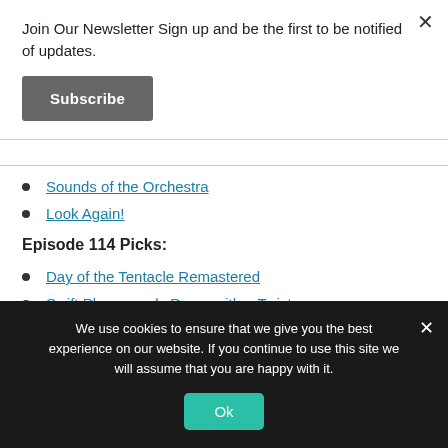Join Our Newsletter Sign up and be the first to be notified of updates.
Subscribe
Sounds of the Orchestra
Look Again!
Episode 114 Picks:
Day of the Tentacle Remastered
Swift Playgrounds Demo with a Twist
We use cookies to ensure that we give you the best experience on our website. If you continue to use this site we will assume that you are happy with it.
Ok